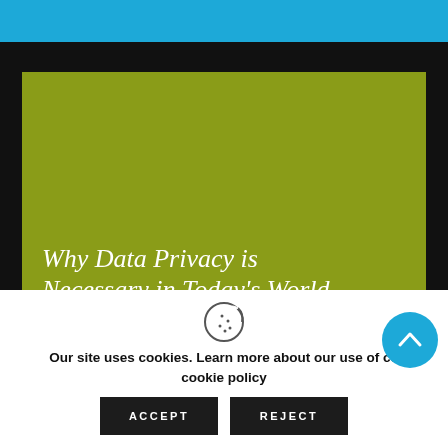[Figure (screenshot): Top blue navigation bar]
[Figure (photo): Olive/yellow-green article card with title 'Why Data Privacy is Necessary in Today's World' and date 'JULY 4, 2022']
Why Data Privacy is Necessary in Today's World
JULY 4, 2022
[Figure (illustration): Cookie consent dialog with cookie icon, text about cookie policy, and Accept/Reject buttons]
Our site uses cookies. Learn more about our use of cookies: cookie policy
ACCEPT
REJECT